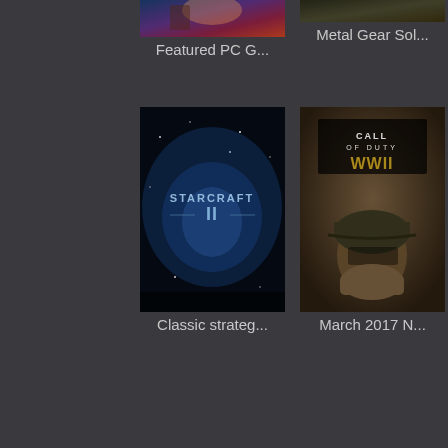[Figure (screenshot): Partially visible game thumbnail at top left (cropped, colorful game art)]
Featured PC G...
[Figure (screenshot): Partially visible Metal Gear Solid game thumbnail at top right (cropped)]
Metal Gear Sol...
[Figure (screenshot): StarCraft II game thumbnail - dark blue space background with STARCRAFT II logo]
Classic strateg...
[Figure (screenshot): Call of Duty WWII game thumbnail - soldier in helmet with game logo]
March 2017 N...